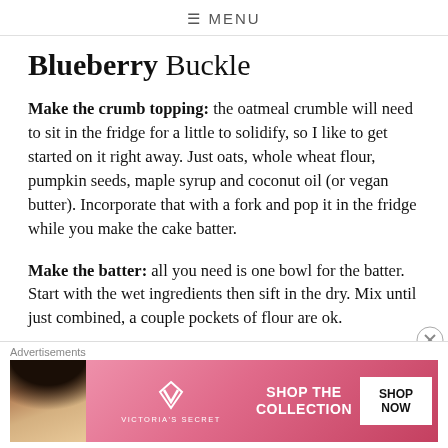≡ MENU
Blueberry Buckle
Make the crumb topping: the oatmeal crumble will need to sit in the fridge for a little to solidify, so I like to get started on it right away. Just oats, whole wheat flour, pumpkin seeds, maple syrup and coconut oil (or vegan butter). Incorporate that with a fork and pop it in the fridge while you make the cake batter.
Make the batter: all you need is one bowl for the batter. Start with the wet ingredients then sift in the dry. Mix until just combined, a couple pockets of flour are ok.
[Figure (other): Victoria's Secret advertisement banner with a woman's photo on the left, VS logo and SHOP THE COLLECTION text, and a SHOP NOW button on the right on a pink background.]